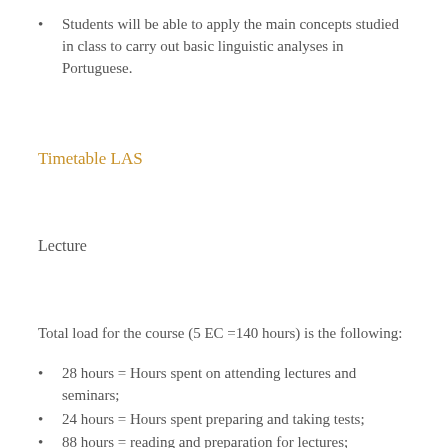Students will be able to apply the main concepts studied in class to carry out basic linguistic analyses in Portuguese.
Timetable LAS
Lecture
Total load for the course (5 EC =140 hours) is the following:
28 hours = Hours spent on attending lectures and seminars;
24 hours = Hours spent preparing and taking tests;
88 hours = reading and preparation for lectures; completing assignments.